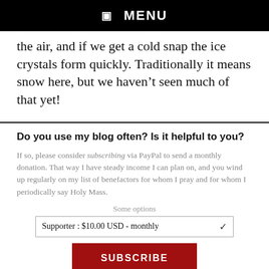☰ MENU
the air, and if we get a cold snap the ice crystals form quickly. Traditionally it means snow here, but we haven't seen much of that yet!
Do you use my blog often? Is it helpful to you?
If so, please consider subscribing via PayPal to send a monthly donation. That way I have steady income I can plan on, and you wind up regularly on my list of benefactors for whom I pray and for whom I periodically say Holy Mass.
Some options
Supporter : $10.00 USD - monthly
SUBSCRIBE